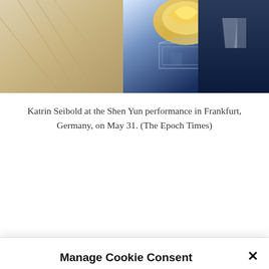[Figure (photo): Partial photo of a person (Katrin Seibold) at the Shen Yun performance, showing a man in a dark suit against a decorative blue Shen Yun backdrop with golden swirl and architectural motif, with a beige decorative background on the left.]
Katrin Seibold at the Shen Yun performance in Frankfurt, Germany, on May 31. (The Epoch Times)
Manage Cookie Consent
To provide the best experiences, we use technologies like cookies to store and/or access device information. Consenting to these technologies will allow us to process data such as browsing behavior or unique IDs on this site. Not consenting or withdrawing consent, may adversely affect certain features and functions.
Accept
Privacy Statement